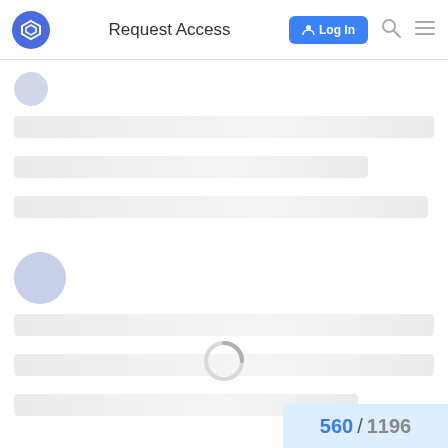Request Access | Log In
[Figure (screenshot): Loading skeleton UI showing two post placeholders with avatar circles and gray skeleton bars, a loading spinner, and a pagination indicator showing 560 / 1196]